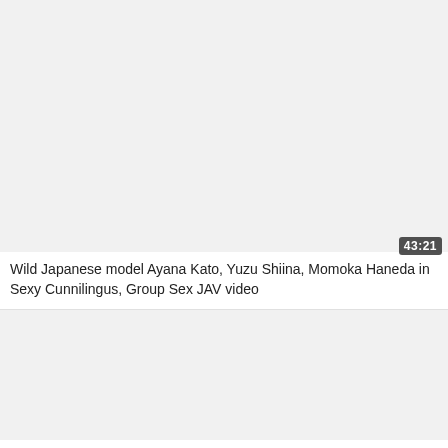[Figure (screenshot): Video thumbnail placeholder, light gray background, top card]
43:21
Wild Japanese model Ayana Kato, Yuzu Shiina, Momoka Haneda in Sexy Cunnilingus, Group Sex JAV video
[Figure (screenshot): Video thumbnail placeholder, light gray background, bottom card]
76:31
Complesso di Edipo